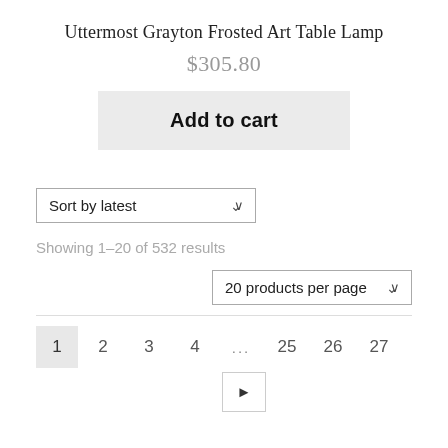Uttermost Grayton Frosted Art Table Lamp
$305.80
Add to cart
Sort by latest
Showing 1-20 of 532 results
20 products per page
1  2  3  4  ...  25  26  27  ►